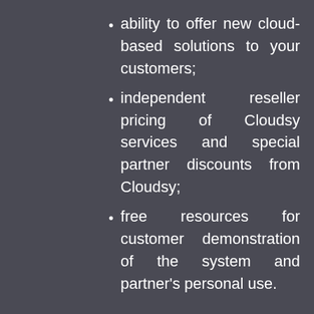ability to offer new cloud-based solutions to your customers;
independent reseller pricing of Cloudsy services and special partner discounts from Cloudsy;
free resources for customer demonstration of the system and partner's personal use.